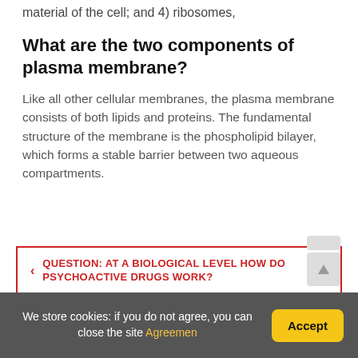material of the cell; and 4) ribosomes,
What are the two components of plasma membrane?
Like all other cellular membranes, the plasma membrane consists of both lipids and proteins. The fundamental structure of the membrane is the phospholipid bilayer, which forms a stable barrier between two aqueous compartments.
QUESTION: AT A BIOLOGICAL LEVEL HOW DO PSYCHOACTIVE DRUGS WORK?
HOW DO BIOLOGICAL CONSTRAINTS CREATE LEARNING PREDISPOSITIONS?
We store cookies: if you do not agree, you can close the site Agreemen